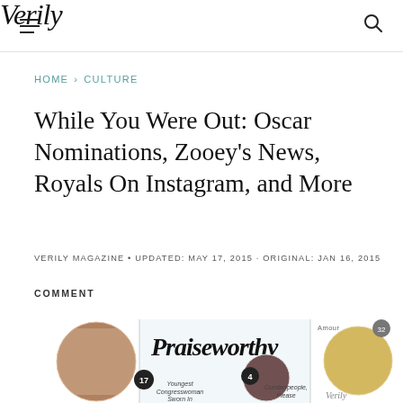Verily
HOME › CULTURE
While You Were Out: Oscar Nominations, Zooey's News, Royals On Instagram, and More
VERILY MAGAZINE • UPDATED: MAY 17, 2015 · ORIGINAL: JAN 16, 2015
COMMENT
[Figure (screenshot): Article thumbnail image strip showing circular photo portraits and a Praiseworthy graphic with handwritten-style text]